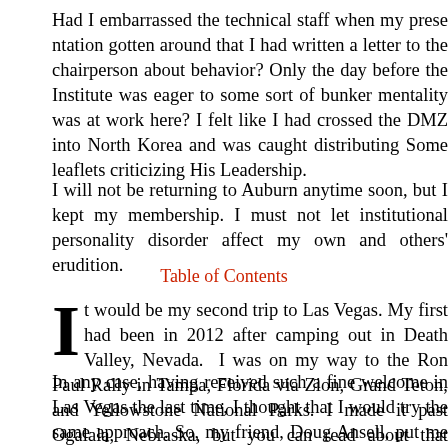Had I embarrassed the technical staff when my presence gotten around that I had written a letter to the chairperson behavior? Only the day before the Institute was eager to sort of bunker mentality was at work here? I felt like I had crossed the DMZ into North Korea and was caught distributing some leaflets criticizing His Leadership.
I will not be returning to Auburn anytime soon, but membership. I must not let institutional personality disorder own and others' erudition.
Table of Contents
It would be my second trip to Las Vegas. My first had been in 2012 after camping out in Death Valley, Nevada. I was on my way to the Ron Paul Rally in Tampa, Florida via Zion, Grand Teton, and Yellowstone National Parks. I made it past Ogalala, Nebraska, but you can read about that adventure elsewhere.
In any case, having received such a fine welcome in Las Vegas the last time, I thought that I would try the same approach. So, my friend, Doug Ansell, put me up at the Green Valley Ranch for two days, but appeared too busy even to meet with me. He had warned me that he was busy and recomm...